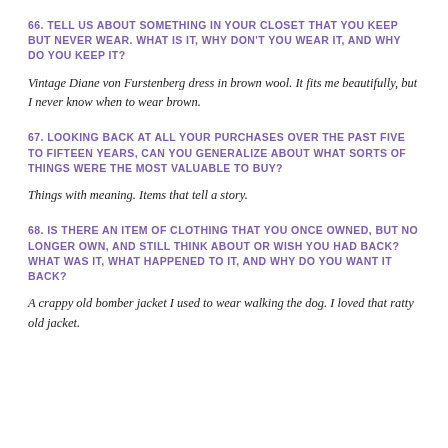66. TELL US ABOUT SOMETHING IN YOUR CLOSET THAT YOU KEEP BUT NEVER WEAR. WHAT IS IT, WHY DON'T YOU WEAR IT, AND WHY DO YOU KEEP IT?
Vintage Diane von Furstenberg dress in brown wool. It fits me beautifully, but I never know when to wear brown.
67. LOOKING BACK AT ALL YOUR PURCHASES OVER THE PAST FIVE TO FIFTEEN YEARS, CAN YOU GENERALIZE ABOUT WHAT SORTS OF THINGS WERE THE MOST VALUABLE TO BUY?
Things with meaning. Items that tell a story.
68. IS THERE AN ITEM OF CLOTHING THAT YOU ONCE OWNED, BUT NO LONGER OWN, AND STILL THINK ABOUT OR WISH YOU HAD BACK? WHAT WAS IT, WHAT HAPPENED TO IT, AND WHY DO YOU WANT IT BACK?
A crappy old bomber jacket I used to wear walking the dog. I loved that ratty old jacket.